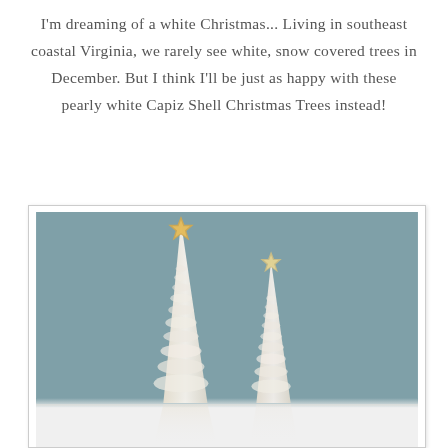I'm dreaming of a white Christmas... Living in southeast coastal Virginia, we rarely see white, snow covered trees in December. But I think I'll be just as happy with these pearly white Capiz Shell Christmas Trees instead!
[Figure (photo): Two white Capiz Shell Christmas trees decorated with starfish toppers, set against a muted blue-grey background. The taller tree on the left has a larger golden starfish topper, and the shorter tree on the right has a smaller starfish topper. Both trees are made of overlapping pearlescent capiz shells arranged in a conical shape. The bottom portion shows a white reflective surface.]